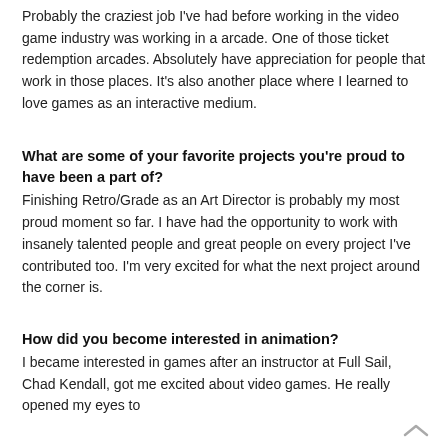Probably the craziest job I've had before working in the video game industry was working in a arcade. One of those ticket redemption arcades. Absolutely have appreciation for people that work in those places. It's also another place where I learned to love games as an interactive medium.
What are some of your favorite projects you're proud to have been a part of?
Finishing Retro/Grade as an Art Director is probably my most proud moment so far. I have had the opportunity to work with insanely talented people and great people on every project I've contributed too. I'm very excited for what the next project around the corner is.
How did you become interested in animation?
I became interested in games after an instructor at Full Sail, Chad Kendall, got me excited about video games. He really opened my eyes to